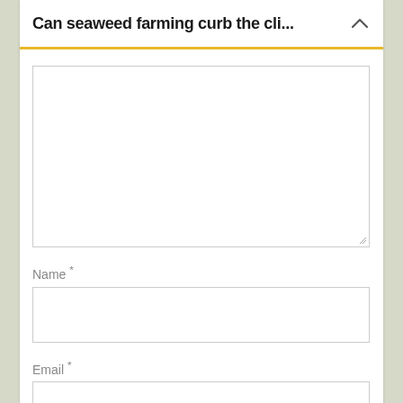Can seaweed farming curb the cli...
[large comment textarea]
Name *
[name input field]
Email *
[email input field]